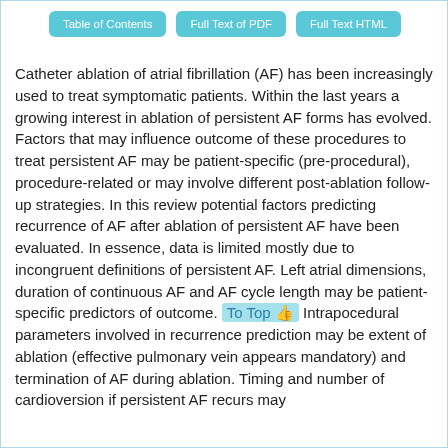Table of Contents | Full Text of PDF | Full Text HTML
Catheter ablation of atrial fibrillation (AF) has been increasingly used to treat symptomatic patients. Within the last years a growing interest in ablation of persistent AF forms has evolved. Factors that may influence outcome of these procedures to treat persistent AF may be patient-specific (pre-procedural), procedure-related or may involve different post-ablation follow-up strategies. In this review potential factors predicting recurrence of AF after ablation of persistent AF have been evaluated. In essence, data is limited mostly due to incongruent definitions of persistent AF. Left atrial dimensions, duration of continuous AF and AF cycle length may be patient-specific predictors of outcome. Intrapocedural parameters involved in recurrence prediction may be extent of ablation (effective pulmonary vein appears mandatory) and termination of AF during ablation. Timing and number of cardioversion if persistent AF recurs may